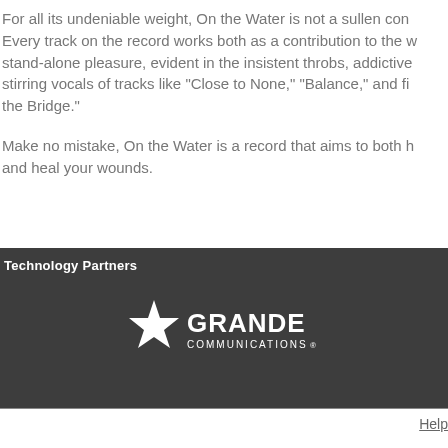For all its undeniable weight, On the Water is not a sullen con... Every track on the record works both as a contribution to the w... stand-alone pleasure, evident in the insistent throbs, addictive ... stirring vocals of tracks like "Close to None," "Balance," and fi... the Bridge."
Make no mistake, On the Water is a record that aims to both h... and heal your wounds.
Technology Partners
[Figure (logo): Grande Communications logo — white star with text 'GRANDE COMMUNICATIONS' on dark background]
Help